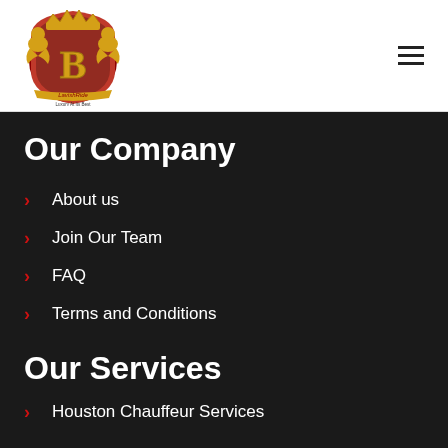[Figure (logo): LavishRide heraldic crest with red shield, gold letter B, two golden lions, crown, and banner reading 'Luxury At Its Best']
Our Company
About us
Join Our Team
FAQ
Terms and Conditions
Our Services
Houston Chauffeur Services